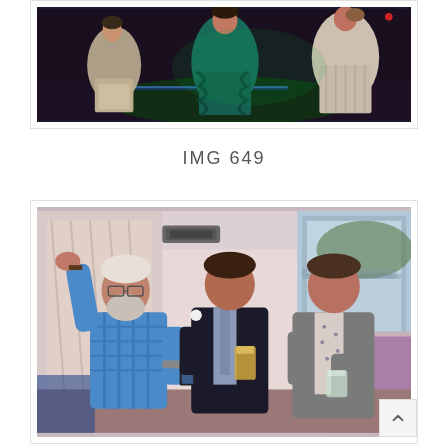[Figure (photo): People dancing on a dance floor with green and coloured lighting, wearing formal/party dresses]
IMG 649
[Figure (photo): Three men posing for a photo at an indoor event, one in a blue checked shirt with arm raised, one in a dark suit holding a beer, one in a grey blazer holding a glass]